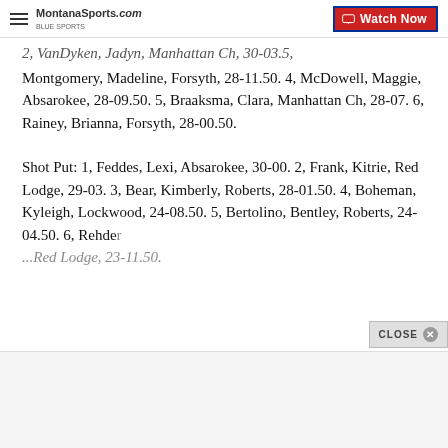MontanaSports.com | Watch Now
2, VanDyken, Jadyn, Manhattan Ch, 30-03.5, Montgomery, Madeline, Forsyth, 28-11.50. 4, McDowell, Maggie, Absarokee, 28-09.50. 5, Braaksma, Clara, Manhattan Ch, 28-07. 6, Rainey, Brianna, Forsyth, 28-00.50.
Shot Put: 1, Feddes, Lexi, Absarokee, 30-00. 2, Frank, Kitrie, Red Lodge, 29-03. 3, Bear, Kimberly, Roberts, 28-01.50. 4, Boheman, Kyleigh, Lockwood, 24-08.50. 5, Bertolino, Bentley, Roberts, 24-04.50. 6, Rehder, ...Red Lodge, 23-11.50.